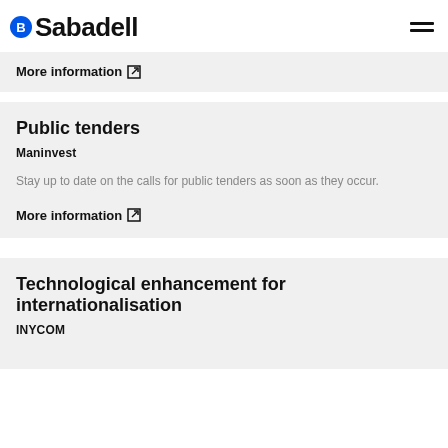B Sabadell
More information [external link]
Public tenders
Maninvest
Stay up to date on the calls for public tenders as soon as they occur.
More information [external link]
Technological enhancement for internationalisation
INYCOM